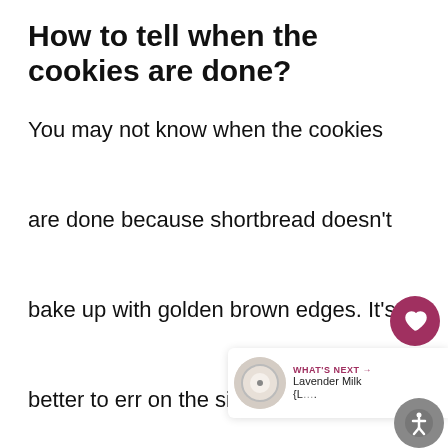How to tell when the cookies are done?
You may not know when the cookies are done because shortbread doesn't bake up with golden brown edges. It's better to err on the side of underbaking than burning the cookies. The baking time is 10 to 13 minutes.

For tender cookies, remove the sheet from the oven when the center